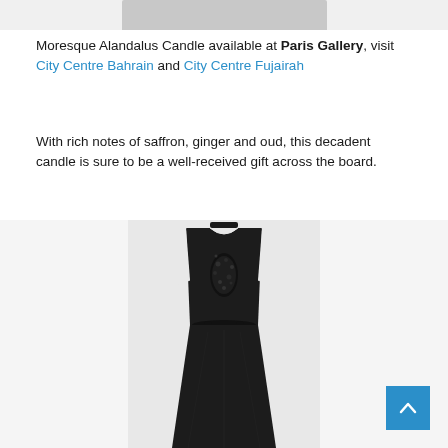[Figure (photo): Top portion of a product image (cropped at top), showing partial view of a dark object against light background]
Moresque Alandalus Candle available at Paris Gallery, visit City Centre Bahrain and City Centre Fujairah
With rich notes of saffron, ginger and oud, this decadent candle is sure to be a well-received gift across the board.
[Figure (photo): A black sleeveless formal gown/dress with sequin embellishment at the neckline and a flared skirt, displayed on a light grey background.]